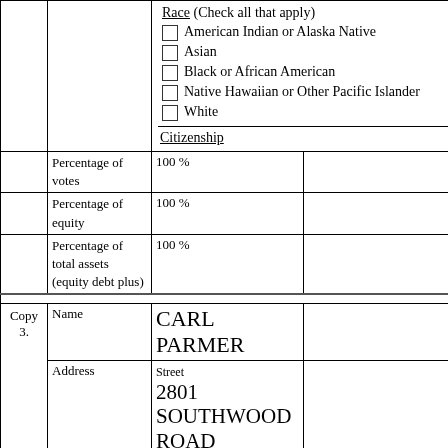|  |  | Race (Check all that apply)
☐ American Indian or Alaska Native
☐ Asian
☐ Black or African American
☐ Native Hawaiian or Other Pacific Islander
☐ White
Citizenship |  |
|  | Percentage of votes | 100 % |  |
|  | Percentage of equity | 100 % |  |
|  | Percentage of total assets (equity debt plus) | 100 % |  |
| Copy 3. | Name | CARL PARMER |  |
| Copy 3. | Address | Street
2801 SOUTHWOOD ROAD

City/State
MOUNTAIN BROOK , ALABAMA
Postal/ZIP Code
35223 -
Country (if not U.S.) |  |